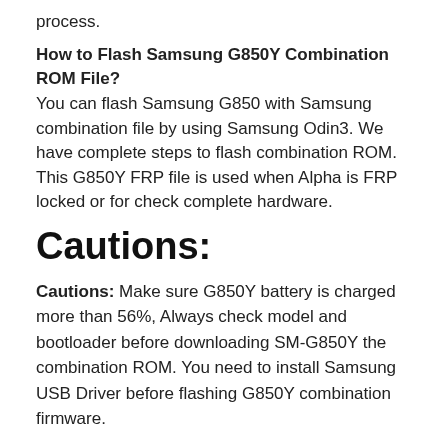process.
How to Flash Samsung G850Y Combination ROM File? You can flash Samsung G850 with Samsung combination file by using Samsung Odin3. We have complete steps to flash combination ROM. This G850Y FRP file is used when Alpha is FRP locked or for check complete hardware.
Cautions:
Cautions: Make sure G850Y battery is charged more than 56%, Always check model and bootloader before downloading SM-G850Y the combination ROM. You need to install Samsung USB Driver before flashing G850Y combination firmware.
Conclusion: Above all files for G850Y are free to